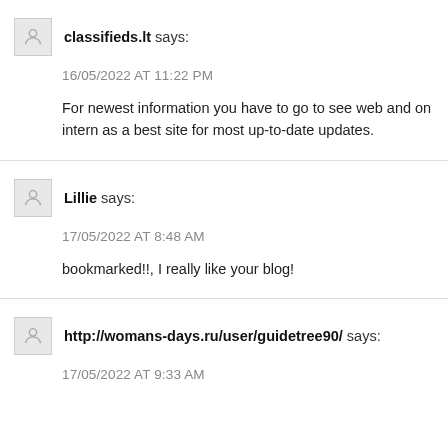classifieds.lt says:
16/05/2022 AT 11:22 PM
For newest information you have to go to see web and on intern as a best site for most up-to-date updates.
Lillie says:
17/05/2022 AT 8:48 AM
bookmarked!!, I really like your blog!
http://womans-days.ru/user/guidetree90/ says:
17/05/2022 AT 9:33 AM